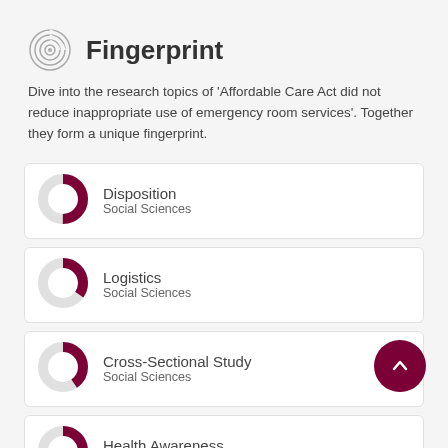Fingerprint
Dive into the research topics of 'Affordable Care Act did not reduce inappropriate use of emergency room services'. Together they form a unique fingerprint.
[Figure (donut-chart): Donut chart icon for Disposition, Social Sciences]
[Figure (donut-chart): Donut chart icon for Logistics, Social Sciences]
[Figure (donut-chart): Donut chart icon for Cross-Sectional Study, Social Sciences]
[Figure (donut-chart): Donut chart icon for Health Awareness, Social Sciences]